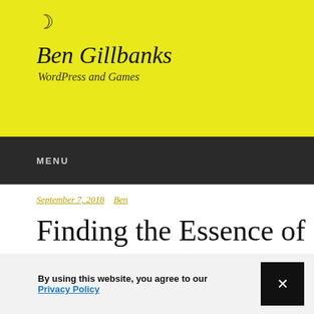🌙 Ben Gillbanks — WordPress and Games
MENU
September 7, 2018  Ben
Finding the Essence of a Product
By using this website, you agree to our Privacy Policy
I ...